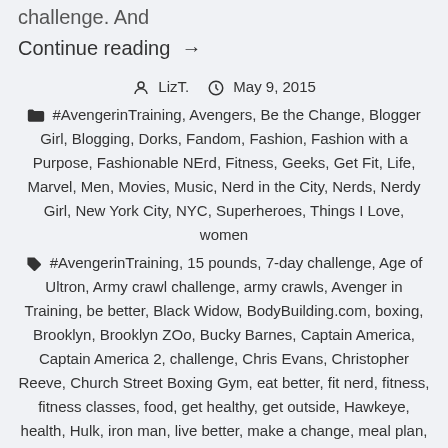challenge. And
Continue reading →
LizT.   May 9, 2015
#AvengerinTraining, Avengers, Be the Change, Blogger Girl, Blogging, Dorks, Fandom, Fashion, Fashion with a Purpose, Fashionable NErd, Fitness, Geeks, Get Fit, Life, Marvel, Men, Movies, Music, Nerd in the City, Nerds, Nerdy Girl, New York City, NYC, Superheroes, Things I Love, women
#AvengerinTraining, 15 pounds, 7-day challenge, Age of Ultron, Army crawl challenge, army crawls, Avenger in Training, be better, Black Widow, BodyBuilding.com, boxing, Brooklyn, Brooklyn ZOo, Bucky Barnes, Captain America, Captain America 2, challenge, Chris Evans, Christopher Reeve, Church Street Boxing Gym, eat better, fit nerd, fitness, fitness classes, food, get healthy, get outside, Hawkeye, health, Hulk, iron man, live better, make a change, meal plan, movie list, music list, nerd for fitness, new york city, Nick Fury, parkour, playlist, red white and blue, steak, Steve Rogers, success,